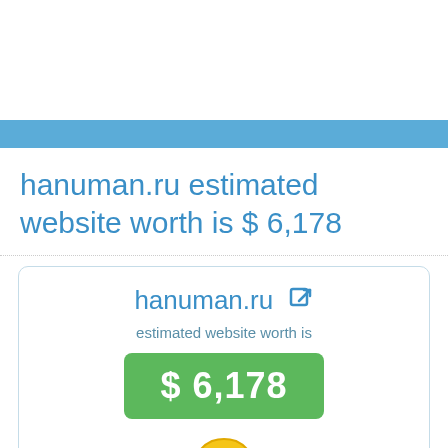hanuman.ru estimated website worth is $ 6,178
hanuman.ru
estimated website worth is
$ 6,178